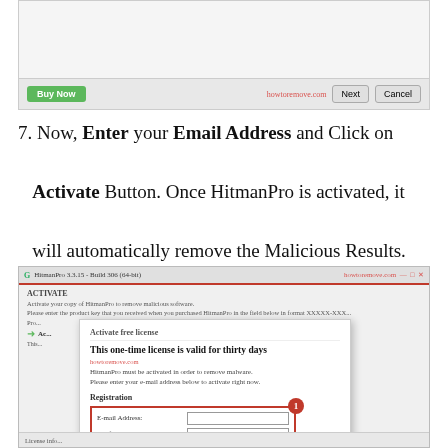[Figure (screenshot): Top portion of HitmanPro dialog with Buy Now, Next, and Cancel buttons]
7. Now, Enter your Email Address and Click on Activate Button. Once HitmanPro is activated, it will automatically remove the Malicious Results.
[Figure (screenshot): HitmanPro 3.3.15 Build 306 (64-bit) window showing Activate free license dialog with Registration fields for E-mail Address and Confirm E-mail Address, highlighted with red box and badge number 1]